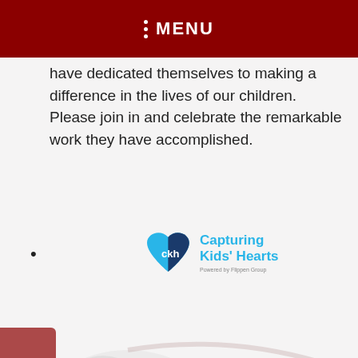MENU
have dedicated themselves to making a difference in the lives of our children. Please join in and celebrate the remarkable work they have accomplished.
[Figure (logo): Capturing Kids' Hearts logo — blue heart with 'ckh' text inside and teal/blue branding text]
•
[Figure (logo): Monte Vista Mustangs watermark logo in gray in the background]
FIND IT FAST
Powerschool
Student and Parent Portal